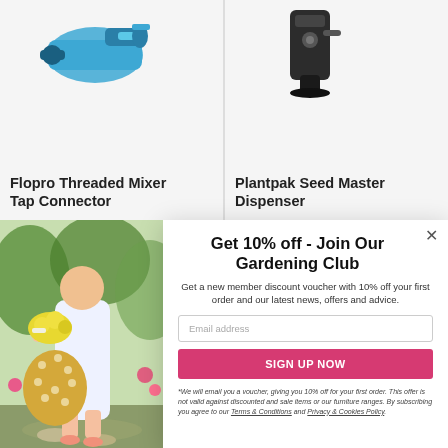[Figure (photo): Top-left product image: blue Flopro Threaded Mixer Tap Connector tool on white background]
Flopro Threaded Mixer Tap Connector
[Figure (photo): Top-right product image: Plantpak Seed Master Dispenser on white background]
Plantpak Seed Master Dispenser
[Figure (photo): Left photo: woman in white dress holding yellow flowers in a wicker basket, standing in a garden]
Get 10% off - Join Our Gardening Club
Get a new member discount voucher with 10% off your first order and our latest news, offers and advice.
Email address
SIGN UP NOW
*We will email you a voucher, giving you 10% off for your first order. This offer is not valid against discounted and sale items or our furniture ranges. By subscribing you agree to our Terms & Conditions and Privacy & Cookies Policy.